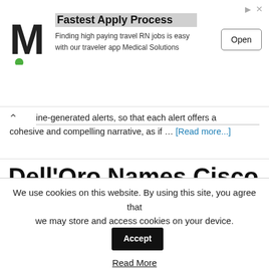[Figure (screenshot): Advertisement banner with Medical Solutions M logo. Title: Fastest Apply Process. Subtitle: Finding high paying travel RN jobs is easy with our traveler app Medical Solutions. Open button on right.]
ine-generated alerts, so that each alert offers a cohesive and compelling narrative, as if … [Read more...]
Dell'Oro Names Cisco 2021 SASE Market Share Leader
Jun 2, 2022 by iHash — Leave a Comment
We use cookies on this website. By using this site, you agree that we may store and access cookies on your device.
Read More